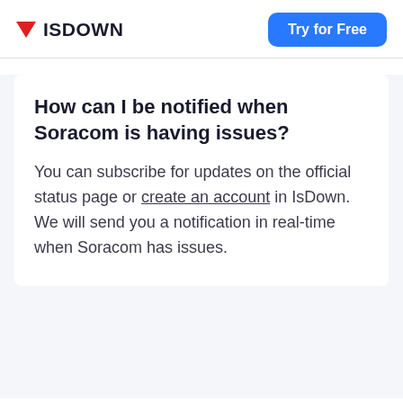ISDOWN  Try for Free
How can I be notified when Soracom is having issues?
You can subscribe for updates on the official status page or create an account in IsDown. We will send you a notification in real-time when Soracom has issues.